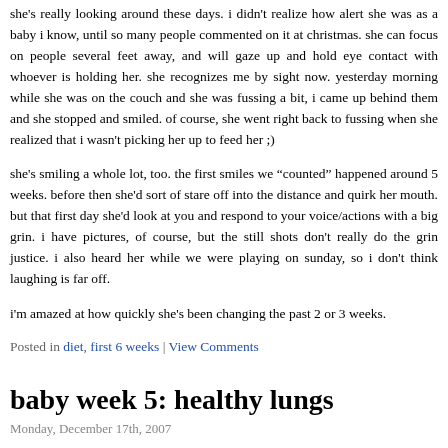she's really looking around these days. i didn't realize how alert she was as a baby i know, until so many people commented on it at christmas. she can focus on people several feet away, and will gaze up and hold eye contact with whoever is holding her. she recognizes me by sight now. yesterday morning while she was on the couch and she was fussing a bit, i came up behind them and she stopped and smiled. of course, she went right back to fussing when she realized that i wasn't picking her up to feed her ;)
she's smiling a whole lot, too. the first smiles we "counted" happened around 5 weeks. before then she'd sort of stare off into the distance and quirk her mouth. but that first day she'd look at you and respond to your voice/actions with a big grin. i have pictures, of course, but the still shots don't really do the grin justice. i also heard her while we were playing on sunday, so i don't think laughing is far off.
i'm amazed at how quickly she's been changing the past 2 or 3 weeks.
Posted in diet, first 6 weeks | View Comments
baby week 5: healthy lungs
Monday, December 17th, 2007
so, she cries a lot. i worry that there's something wrong, since she doesn't fit the perfect pattern of colic, but i think it's still colic. she cries about an hour after probably 2/3 of her feedings. there isn't any discernible pattern ba...